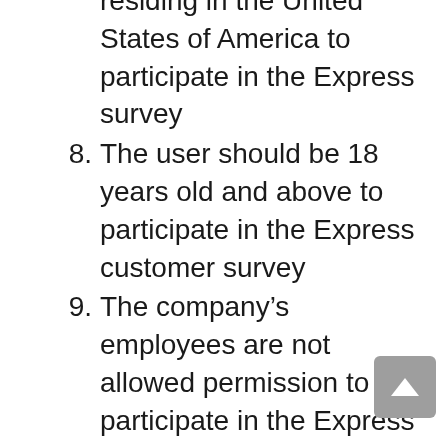residing in the United States of America to participate in the Express survey
8. The user should be 18 years old and above to participate in the Express customer survey
9. The company’s employees are not allowed permission to participate in the Express customer survey
10. The user must be able to understand either English or Spanish; as only these languages are available in the Express customer survey
11. The user cannot exchange the